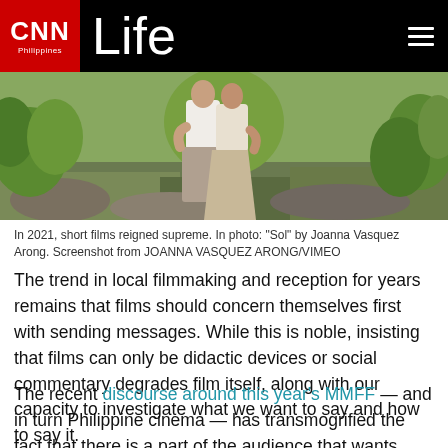CNN Philippines Life
[Figure (photo): Two people embracing outdoors among green foliage and rocky terrain, one wearing a white top and the other in a beige/khaki skirt. Screenshot from the short film 'Sol' by Joanna Vasquez Arong.]
In 2021, short films reigned supreme. In photo: “Sol” by Joanna Vasquez Arong. Screenshot from JOANNA VASQUEZ ARONG/VIMEO
The trend in local filmmaking and reception for years remains that films should concern themselves first with sending messages. While this is noble, insisting that films can only be didactic devices or social commentary degrades film itself, along with our capacity to investigate what we want to say and how to say it.
The recent discourse around this year’s MMFF — and in turn Philippine cinema — has transmogrified the fact that there is a part of the audience that wants their voice to be heard. Message and moralism are also becoming the barometer by which many assess films, seeing anything on screen as